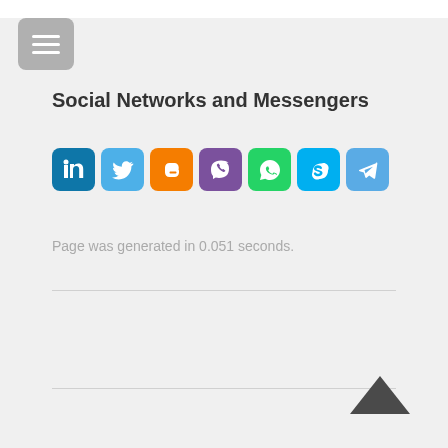[Figure (screenshot): Hamburger menu button (three horizontal lines) in a gray rounded rectangle in the top-left corner]
Social Networks and Messengers
[Figure (infographic): Row of social network and messenger icons: LinkedIn (blue), Twitter (light blue), Blogger (orange), Viber (purple), WhatsApp (green), Skype (blue), Telegram (blue)]
Page was generated in 0.051 seconds.
[Figure (other): Upward-pointing chevron/caret arrow in dark gray at bottom right, as a back-to-top button]